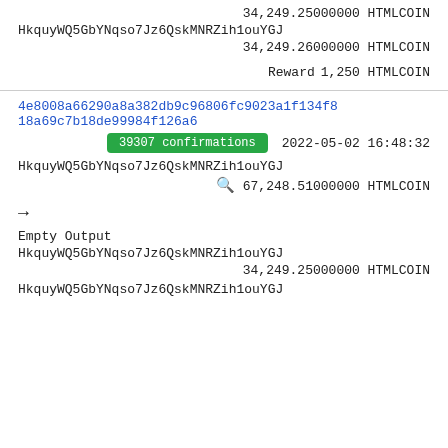34,249.25000000 HTMLCOIN
HkquyWQ5GbYNqso7Jz6QskMNRZih1ouYGJ
34,249.26000000 HTMLCOIN
Reward 1,250 HTMLCOIN
4e8008a66290a8a382db9c96806fc9023a1f134f818a69c7b18de99984f126a6
39307 confirmations  2022-05-02 16:48:32
HkquyWQ5GbYNqso7Jz6QskMNRZih1ouYGJ
67,248.51000000 HTMLCOIN
→
Empty Output
HkquyWQ5GbYNqso7Jz6QskMNRZih1ouYGJ
34,249.25000000 HTMLCOIN
HkquyWQ5GbYNqso7Jz6QskMNRZih1ouYGJ